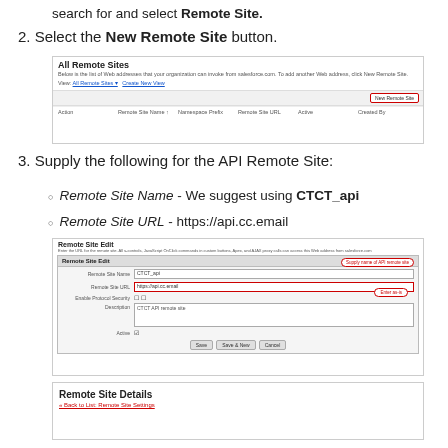search for and select Remote Site.
2. Select the New Remote Site button.
[Figure (screenshot): All Remote Sites page in Salesforce showing table headers: Action, Remote Site Name, Namespace Prefix, Remote Site URL, Active, Created By. A red-bordered 'New Remote Site' button is visible in the top right.]
3. Supply the following for the API Remote Site:
Remote Site Name - We suggest using CTCT_api
Remote Site URL - https://api.cc.email
[Figure (screenshot): Remote Site Edit form with fields: Remote Site Name filled with CTCT_api, Remote Site URL filled with https://api.cc.email, Enable Protocol Security with checkbox, Description with 'CTCT API remote site', Active checkbox. Callouts indicate 'Supply name of API remote site' and 'Enter as-is'. Save, Save & New, Cancel buttons at bottom.]
[Figure (screenshot): Remote Site Details section showing title and link 'Back to List: Remote Site Settings']